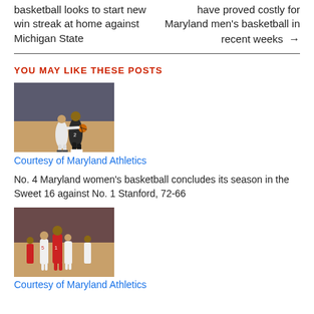basketball looks to start new win streak at home against Michigan State
have proved costly for Maryland men's basketball in recent weeks →
YOU MAY LIKE THESE POSTS
[Figure (photo): Basketball player in dark uniform dribbling past a defender in white uniform, indoor arena crowd in background]
Courtesy of Maryland Athletics
No. 4 Maryland women's basketball concludes its season in the Sweet 16 against No. 1 Stanford, 72-66
[Figure (photo): Women's basketball players on court, players in white and red uniforms near sideline]
Courtesy of Maryland Athletics